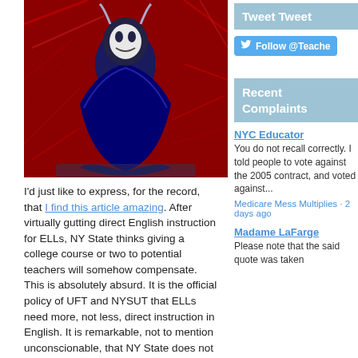[Figure (illustration): Comic-book style illustration with red and dark blue tones showing a figure in a dark robe/cape against a red background with abstract markings]
I'd just like to express, for the record, that I find this article amazing. After virtually gutting direct English instruction for ELLs, NY State thinks giving a college course or two to potential teachers will somehow compensate. This is absolutely absurd. It is the official policy of UFT and NYSUT that ELLs need more, not less, direct instruction in English. It is remarkable, not to mention unconscionable, that NY State does not share that policy.
It is supremely ironic that the state now proposes to instruct potential teachers about language acquisition. The most recent revision of Part 154 is abundant evidence that the state itself knows little or nothing about language
Tweet Tweet
Follow @Teache
Recent Complaints
NYC Educator
You do not recall correctly. I told people to vote against the 2005 contract, and voted against...
Medicare Mess Multiplies · 2 days ago
Madame LaFarge
Please note that the said quote was taken